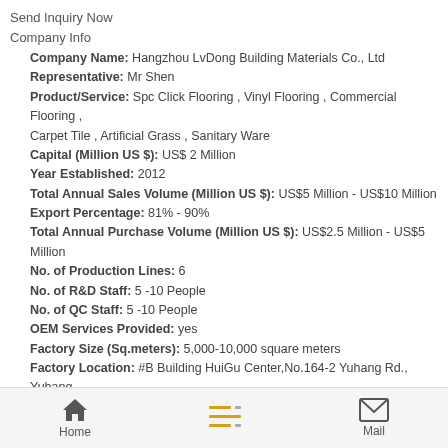Send Inquiry Now
Company Info
Company Name: Hangzhou LvDong Building Materials Co., Ltd
Representative: Mr Shen
Product/Service: Spc Click Flooring , Vinyl Flooring , Commercial Flooring , Carpet Tile , Artificial Grass , Sanitary Ware
Capital (Million US $): US$ 2 Million
Year Established: 2012
Total Annual Sales Volume (Million US $): US$5 Million - US$10 Million
Export Percentage: 81% - 90%
Total Annual Purchase Volume (Million US $): US$2.5 Million - US$5 Million
No. of Production Lines: 6
No. of R&D Staff: 5 -10 People
No. of QC Staff: 5 -10 People
OEM Services Provided: yes
Factory Size (Sq.meters): 5,000-10,000 square meters
Factory Location: #B Building HuiGu Center,No.164-2 Yuhang Rd., Yuhang District, HZ, China
Contact Person: Mr. Kevin Ye
Tel: 86-571-58009320
Premium Related Products
Transparent cast clear acrylic sheet
Disposable PVC Tracheostomy Tube with cuff
Other Products
Home | Mail